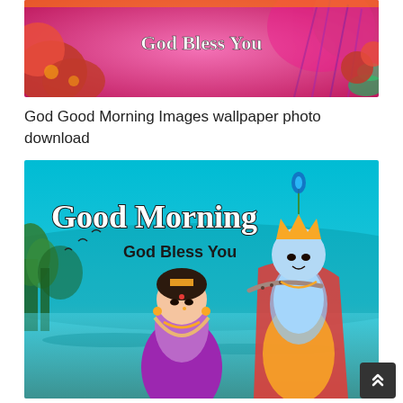[Figure (photo): Colorful religious Hindu devotional image with 'God Bless You' text in white, featuring red flowers and peacock feathers on a pink/magenta background - top portion of image]
God Good Morning Images wallpaper photo download
[Figure (photo): Colorful Hindu devotional wallpaper image showing Lord Krishna playing flute with Radha beside him on a teal/turquoise background with trees and water. Text reads 'Good Morning' in white script and 'God Bless You' below in smaller text.]